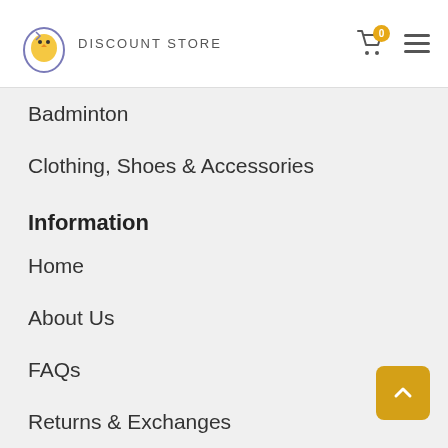DISCOUNT STORE
Badminton
Clothing, Shoes & Accessories
Information
Home
About Us
FAQs
Returns & Exchanges
Shipping & Returns
Payment Method
Quick Links